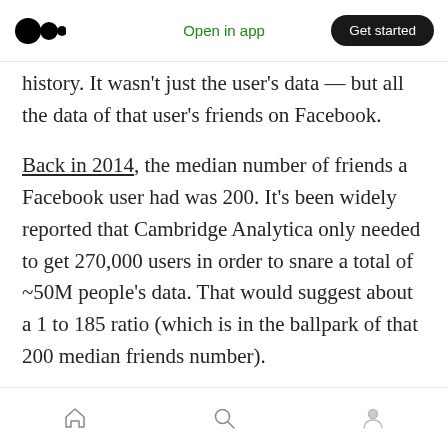Open in app  Get started
history. It wasn't just the user's data — but all the data of that user's friends on Facebook.
Back in 2014, the median number of friends a Facebook user had was 200. It's been widely reported that Cambridge Analytica only needed to get 270,000 users in order to snare a total of ~50M people's data. That would suggest about a 1 to 185 ratio (which is in the ballpark of that 200 median friends number).
Now, assuming that ratio is linear (it almost certainly isn't due to some users being highly